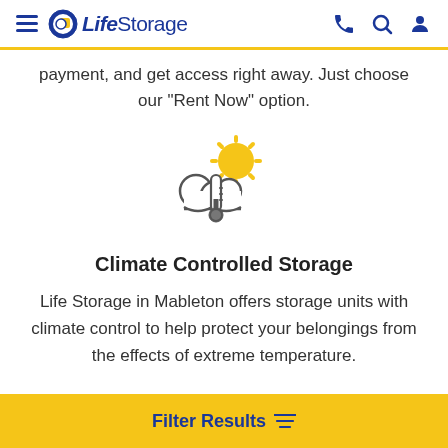LifeStorage
payment, and get access right away. Just choose our "Rent Now" option.
[Figure (illustration): Weather icon showing clouds with sun and thermometer, representing climate control]
Climate Controlled Storage
Life Storage in Mableton offers storage units with climate control to help protect your belongings from the effects of extreme temperature.
Filter Results